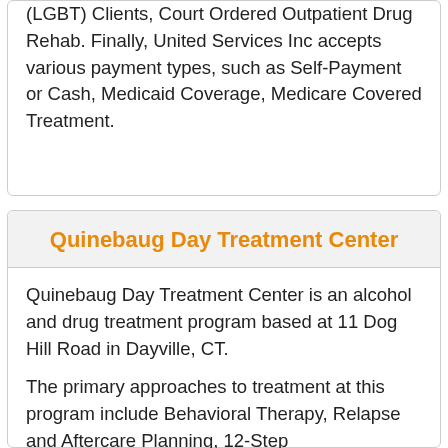(LGBT) Clients, Court Ordered Outpatient Drug Rehab. Finally, United Services Inc accepts various payment types, such as Self-Payment or Cash, Medicaid Coverage, Medicare Covered Treatment.
Quinebaug Day Treatment Center
Quinebaug Day Treatment Center is an alcohol and drug treatment program based at 11 Dog Hill Road in Dayville, CT.
The primary approaches to treatment at this program include Behavioral Therapy, Relapse and Aftercare Planning, 12-Step